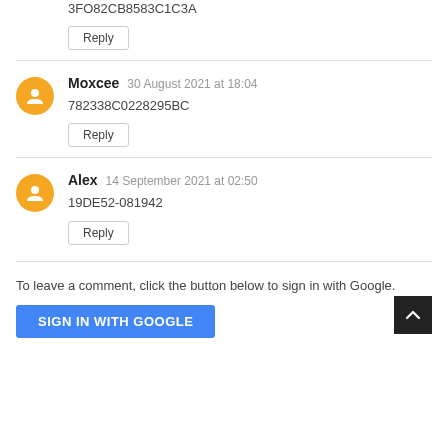3FO82CB8583C1C3A
Reply
Moxcee  30 August 2021 at 18:04
782338C0228295BC
Reply
Alex  14 September 2021 at 02:50
19DE52-081942
Reply
To leave a comment, click the button below to sign in with Google.
SIGN IN WITH GOOGLE